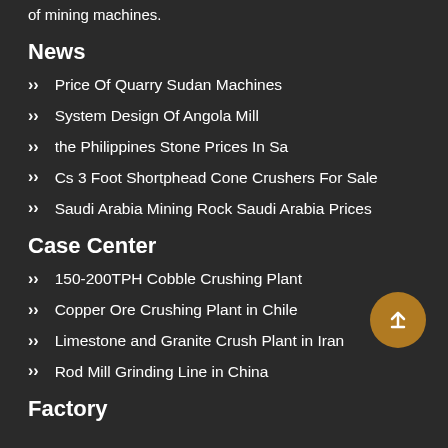of mining machines.
News
Price Of Quarry Sudan Machines
System Design Of Angola Mill
the Philippines Stone Prices In Sa
Cs 3 Foot Shortphead Cone Crushers For Sale
Saudi Arabia Mining Rock Saudi Arabia Prices
Case Center
150-200TPH Cobble Crushing Plant
Copper Ore Crushing Plant in Chile
Limestone and Granite Crush Plant in Iran
Rod Mill Grinding Line in China
Factory